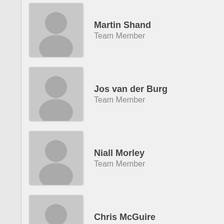Martin Shand
Team Member
Jos van der Burg
Team Member
Niall Morley
Team Member
Chris McGuire
Team Member
Mark Roos
Team Member
Support Crew
Pauline Laidlaw